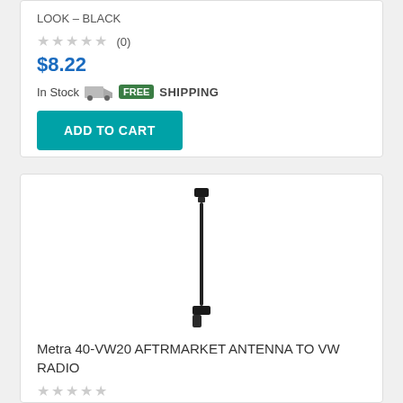LOOK – BLACK
★★★★★ (0)
$8.22
In Stock  FREE SHIPPING
ADD TO CART
[Figure (photo): Black antenna cable/adapter product photo on white background]
Metra 40-VW20 AFTRMARKET ANTENNA TO VW RADIO
★★★★★